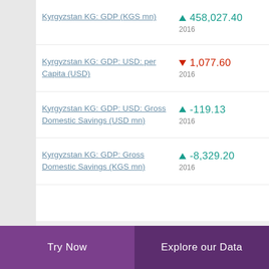Kyrgyzstan KG: GDP (KGS mn) ▲ 458,027.40 2016
Kyrgyzstan KG: GDP: USD: per Capita (USD) ▼ 1,077.60 2016
Kyrgyzstan KG: GDP: USD: Gross Domestic Savings (USD mn) ▲ -119.13 2016
Kyrgyzstan KG: GDP: Gross Domestic Savings (KGS mn) ▲ -8,329.20 2016
Try Now    Explore our Data